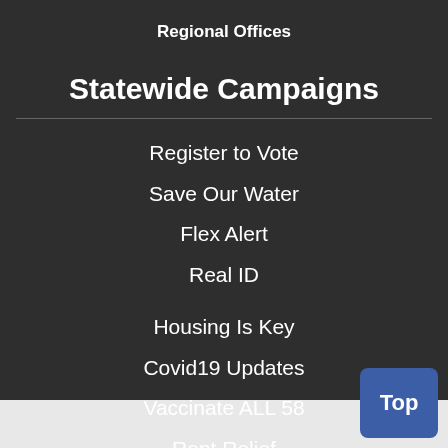Regional Offices
Statewide Campaigns
Register to Vote
Save Our Water
Flex Alert
Real ID
Housing Is Key
Covid19 Updates
Vaccinate ALL 58
Rent Relief